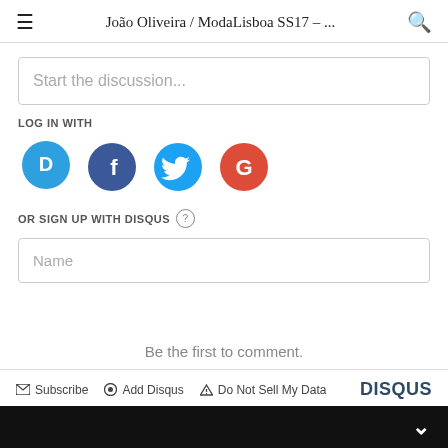João Oliveira / ModaLisboa SS17 – ...
Start the discussion...
LOG IN WITH
[Figure (infographic): Four social login icons: Disqus (blue speech bubble with D), Facebook (dark blue circle with f), Twitter (light blue circle with bird), Google (red circle with G)]
OR SIGN UP WITH DISQUS ?
Name
Be the first to comment.
Subscribe  Add Disqus  Do Not Sell My Data  DISQUS